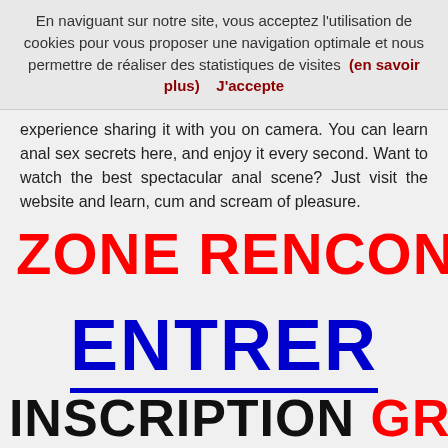En naviguant sur notre site, vous acceptez l'utilisation de cookies pour vous proposer une navigation optimale et nous permettre de réaliser des statistiques de visites (en savoir plus)    J'accepte
experience sharing it with you on camera. You can learn anal sex secrets here, and enjoy it every second. Want to watch the best spectacular anal scene? Just visit the website and learn, cum and scream of pleasure.
ZONE RENCONTRE RAP
ENTRER
INSCRIPTION GRATUIT